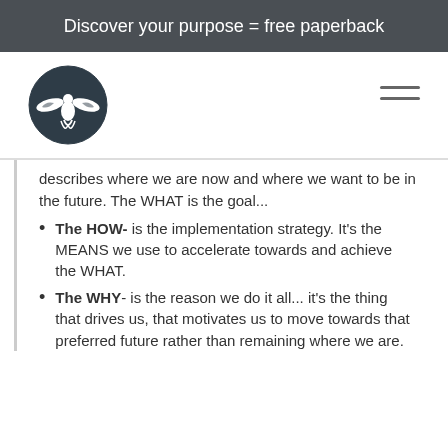Discover your purpose = free paperback
[Figure (logo): Circular logo with dark background featuring a white bird/phoenix with wings spread, enclosed in a circle]
describes where we are now and where we want to be in the future. The WHAT is the goal...
The HOW- is the implementation strategy. It's the MEANS we use to accelerate towards and achieve the WHAT.
The WHY- is the reason we do it all... it's the thing that drives us, that motivates us to move towards that preferred future rather than remaining where we are.